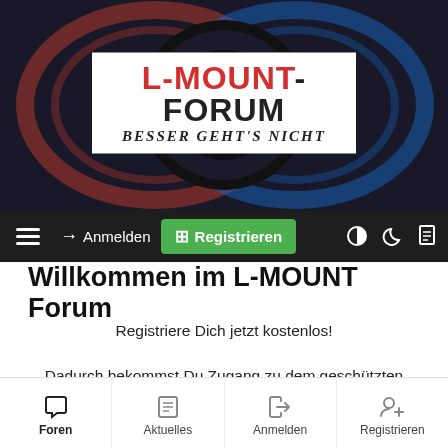[Figure (logo): L-MOUNT-FORUM logo with camera lens background. Red and white logo box with text 'L-MOUNT-FORUM' and subtitle 'Besser geht's nicht']
→ Anmelden  ⊞ Registrieren
Willkommen im L-MOUNT Forum
Registriere Dich jetzt kostenlos!

Dadurch bekommst Du Zugang zu dem geschützten Mitgliederbereich, kannst beim Gebrauchtmarkt mitmachen und stellst nebenbei auch noch sicher, dass niemand Dir Deinen Wunsch-Usernamen
Foren  Aktuelles  Anmelden  Registrieren